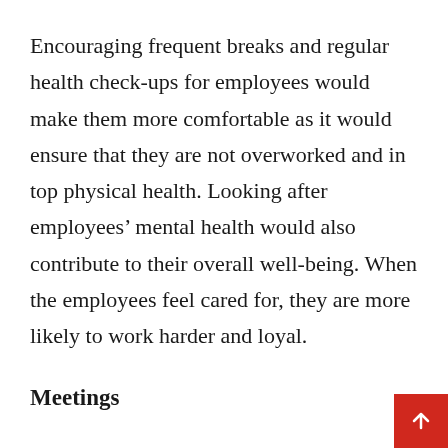Encouraging frequent breaks and regular health check-ups for employees would make them more comfortable as it would ensure that they are not overworked and in top physical health. Looking after employees' mental health would also contribute to their overall well-being. When the employees feel cared for, they are more likely to work harder and loyal.
Meetings
Keeping gatherings short, especially work-related ones like meetings, make employees stay engaged and agreeable for longer. Long meetings that are